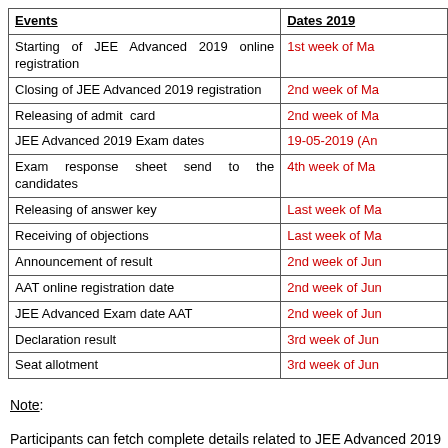| Events | Dates 2019 |
| --- | --- |
| Starting of JEE Advanced 2019 online registration | 1st week of Ma... |
| Closing of JEE Advanced 2019 registration | 2nd week of Ma... |
| Releasing of admit card | 2nd week of Ma... |
| JEE Advanced 2019 Exam dates | 19-05-2019 (An... |
| Exam response sheet send to the candidates | 4th week of Ma... |
| Releasing of answer key | Last week of Ma... |
| Receiving of objections | Last week of Ma... |
| Announcement of result | 2nd week of Jun... |
| AAT online registration date | 2nd week of Jun... |
| JEE Advanced Exam date AAT | 2nd week of Jun... |
| Declaration result | 3rd week of Jun... |
| Seat allotment | 3rd week of Jun... |
Note:
Participants can fetch complete details related to JEE Advanced 2019 by going through above page or you can check Official Link. You can join us on Facebook or Google + or bookmark our web page for daily updates. Also, if you have query or any...